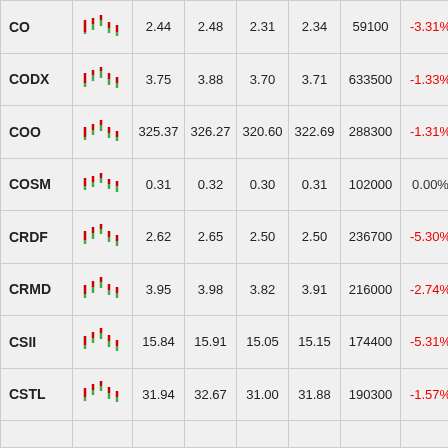| Symbol | Chart | Open | High | Low | Close | Volume | Change% |
| --- | --- | --- | --- | --- | --- | --- | --- |
| CO |  | 2.44 | 2.48 | 2.31 | 2.34 | 59100 | -3.31% |
| CODX |  | 3.75 | 3.88 | 3.70 | 3.71 | 633500 | -1.33% |
| COO |  | 325.37 | 326.27 | 320.60 | 322.69 | 288300 | -1.31% |
| COSM |  | 0.31 | 0.32 | 0.30 | 0.31 | 102000 | 0.00% |
| CRDF |  | 2.62 | 2.65 | 2.50 | 2.50 | 236700 | -5.30% |
| CRMD |  | 3.95 | 3.98 | 3.82 | 3.91 | 216000 | -2.74% |
| CSII |  | 15.84 | 15.91 | 15.05 | 15.15 | 174400 | -5.31% |
| CSTL |  | 31.94 | 32.67 | 31.00 | 31.88 | 190300 | -1.57% |
|  |  |  |  |  |  |  |  |